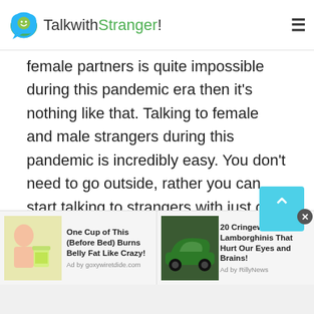TalkwithStranger!
female partners is quite impossible during this pandemic era then it's nothing like that. Talking to female and male strangers during this pandemic is incredibly easy. You don't need to go outside, rather you can start talking to strangers with just one click. Yes, once you start talking to strangers in Belarus at the Talkwithstranger app you will never feel alone. It is possible to create happy moments even while talking to strangers online. There are so many fantastic features available at TWS that keep you connected with your loved ones.
[Figure (screenshot): Ad: One Cup of This (Before Bed) Burns Belly Fat Like Crazy! - Ad by goxywiretdide.com]
[Figure (screenshot): Ad: 20 Cringeworthy Lamborghinis That Hurt Our Eyes and Brains! - Ad by RillyNews]